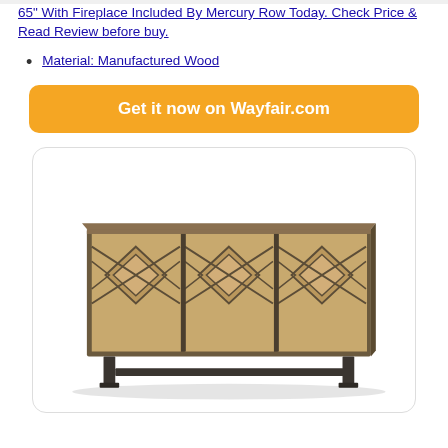65" With Fireplace Included By Mercury Row Today. Check Price & Read Review before buy.
Material: Manufactured Wood
[Figure (infographic): Orange rounded-rectangle button with white bold text: Get it now on Wayfair.com]
[Figure (photo): Photo of a wooden sideboard/credenza with geometric diamond-pattern carved doors in reclaimed wood tones, three panels, sitting on dark metal legs, against white background.]